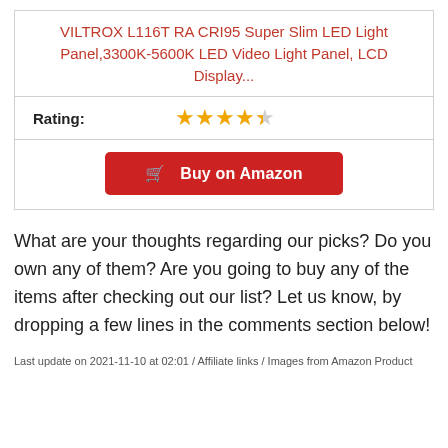VILTROX L116T RA CRI95 Super Slim LED Light Panel,3300K-5600K LED Video Light Panel, LCD Display...
| Rating: | ★★★★☆ |
|  | Buy on Amazon |
What are your thoughts regarding our picks? Do you own any of them? Are you going to buy any of the items after checking out our list? Let us know, by dropping a few lines in the comments section below!
Last update on 2021-11-10 at 02:01 / Affiliate links / Images from Amazon Product